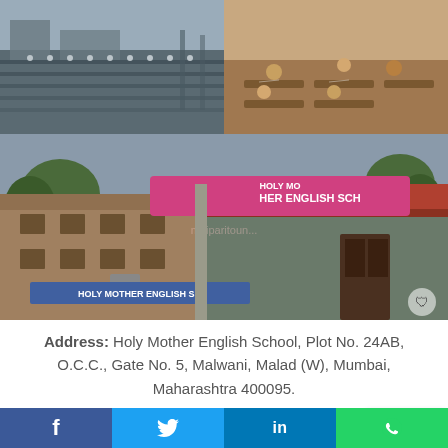[Figure (photo): Top-left photo: rows of school students in uniform standing in lines outdoors, likely during assembly]
[Figure (photo): Top-right photo: students sitting at desks in a classroom, writing or studying]
[Figure (photo): Large center photo: exterior of Holy Mother English School building with signage visible on the facade]
Address: Holy Mother English School, Plot No. 24AB, O.C.C., Gate No. 5, Malwani, Malad (W), Mumbai, Maharashtra 400095.
[Figure (illustration): Donate Now pink rounded button]
f  [Twitter bird icon]  in  [WhatsApp icon]